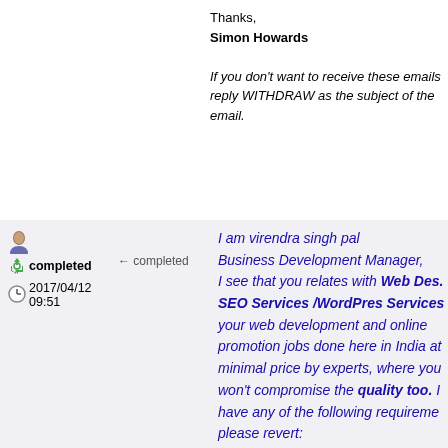Thanks,
Simon Howards

If you don't want to receive these emails reply WITHDRAW as the subject of the email.
completed  ← completed  2017/04/12 09:51
I am virendra singh pal Business Development Manager, I see that you relates with Web Des. SEO Services /WordPres Services your web development and online promotion jobs done here in India at minimal price by experts, where you won't compromise the quality too. I have any of the following requirements please revert:

1. Complete SEO Packages ( NO